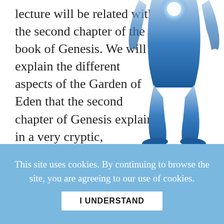lecture will be related with the second chapter of the book of Genesis. We will explain the different aspects of the Garden of Eden that the second chapter of Genesis explains in a very cryptic, Kabbalistic, Alchemistic manner.
[Figure (illustration): Blue silhouette of a human figure (lower body, legs and feet visible) with a glowing white light at the top center, suggesting an esoteric or spiritual illustration.]
(partially visible cut-off text below main paragraph)
This site uses cookies. By continuing to browse the site, you are agreeing to our use of cookies.